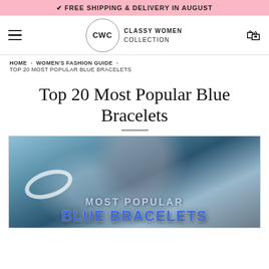✔ FREE SHIPPING & DELIVERY IN AUGUST
[Figure (logo): CWC Classy Women Collection logo with hamburger menu and shopping cart]
HOME > WOMEN'S FASHION GUIDE > TOP 20 MOST POPULAR BLUE BRACELETS
Top 20 Most Popular Blue Bracelets
[Figure (photo): Woman wearing blue bracelets with overlaid text: MOST POPULAR BLUE BRACELETS]